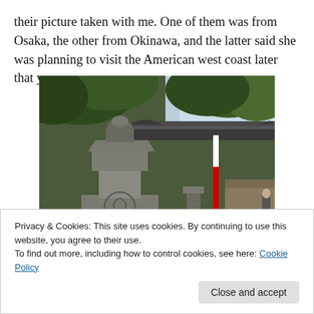their picture taken with me. One of them was from Osaka, the other from Okinawa, and the latter said she was planning to visit the American west coast later that year.
[Figure (photo): Photograph of a stone lantern in the foreground at a Japanese shrine or temple, with a traditional tiled-roof gate and lush green trees in the background. A red and white flag or banner is visible on the right side.]
Privacy & Cookies: This site uses cookies. By continuing to use this website, you agree to their use.
To find out more, including how to control cookies, see here: Cookie Policy